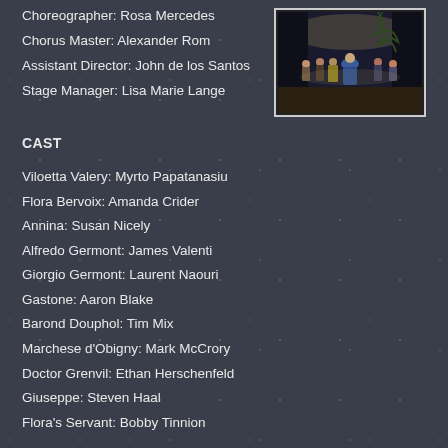Choreographer: Rosa Mercedes
Chorus Master: Alexander Rom
Assistant Director: John de los Santos
Stage Manager: Lisa Marie Lange
[Figure (photo): Stage performance photo showing cast members on stage, woman in blue dress prominent]
CAST
Viloetta Valery: Myrto Papatanasiu
Flora Bervoix: Amanda Crider
Annina: Susan Nicely
Alfredo Germont: James Valenti
Giorgio Germont: Laurent Naouri
Gastone: Aaron Blake
Barond Douphol: Tim Mix
Marchese d'Obigny: Mark McCrory
Doctor Grenvil: Ethan Herschenfeld
Giuseppe: Steven Haal
Flora's Servant: Bobby Tinnion